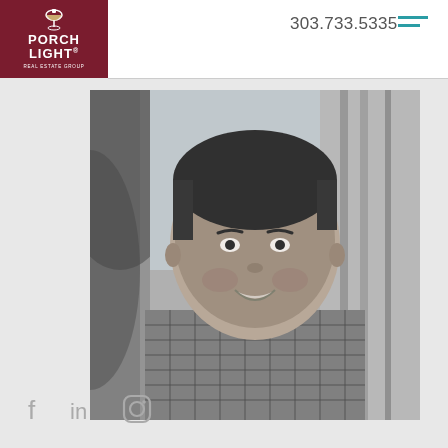[Figure (logo): Porch Light Real Estate Group logo — white text on dark red background with lamp icon]
303.733.5335
[Figure (photo): Black and white portrait photo of a smiling man in a gingham/checkered shirt, standing in front of trees]
[Figure (other): Social media icons: Facebook, LinkedIn, Instagram]